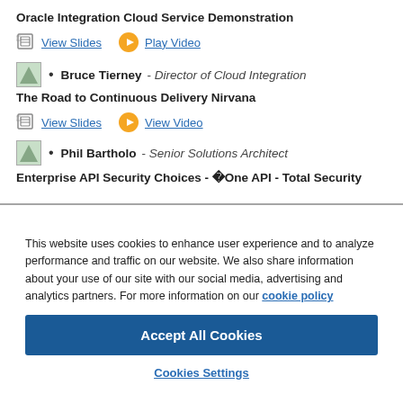Oracle Integration Cloud Service Demonstration
View Slides | Play Video
Bruce Tierney - Director of Cloud Integration
The Road to Continuous Delivery Nirvana
View Slides | View Video
Phil Bartholo - Senior Solutions Architect
Enterprise API Security Choices -  One API - Total Security
This website uses cookies to enhance user experience and to analyze performance and traffic on our website. We also share information about your use of our site with our social media, advertising and analytics partners. For more information on our cookie policy
Accept All Cookies
Cookies Settings